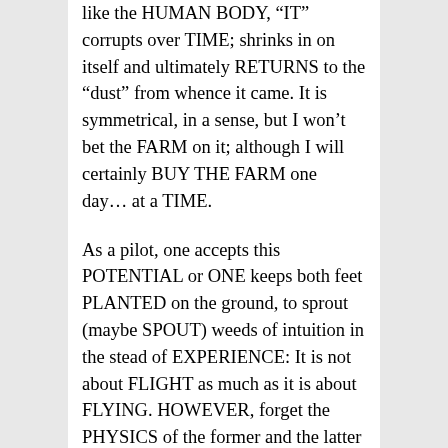like the HUMAN BODY, “IT” corrupts over TIME; shrinks in on itself and ultimately RETURNS to the “dust” from whence it came. It is symmetrical, in a sense, but I won’t bet the FARM on it; although I will certainly BUY THE FARM one day… at a TIME.
As a pilot, one accepts this POTENTIAL or ONE keeps both feet PLANTED on the ground, to sprout (maybe SPOUT) weeds of intuition in the stead of EXPERIENCE: It is not about FLIGHT as much as it is about FLYING. HOWEVER, forget the PHYSICS of the former and the latter will terminate at GROUND ZERO: You buys the Farm, but you will never own it. In ACTUALITY, there is risk inherent in this